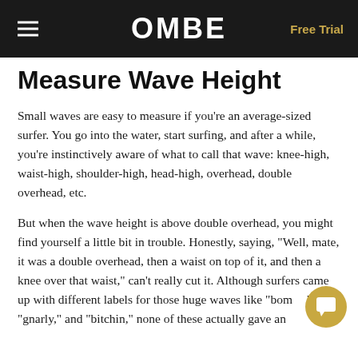OMBE | Free Trial
Measure Wave Height
Small waves are easy to measure if you're an average-sized surfer. You go into the water, start surfing, and after a while, you're instinctively aware of what to call that wave: knee-high, waist-high, shoulder-high, head-high, overhead, double overhead, etc.
But when the wave height is above double overhead, you might find yourself a little bit in trouble. Honestly, saying, "Well, mate, it was a double overhead, then a waist on top of it, and then a knee over that waist," can't really cut it. Although surfers came up with different labels for those huge waves like "bombs," "gnarly," and "bitchin," none of these actually gave an